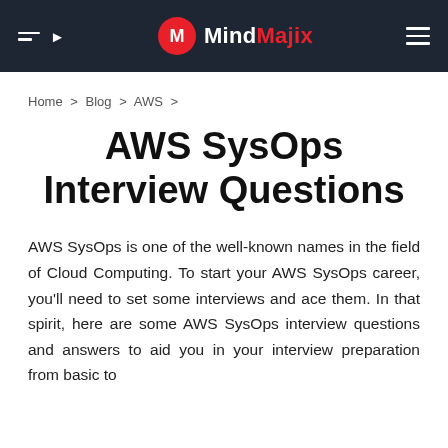MindMajix
Home > Blog > AWS >
AWS SysOps Interview Questions
AWS SysOps is one of the well-known names in the field of Cloud Computing. To start your AWS SysOps career, you'll need to set some interviews and ace them. In that spirit, here are some AWS SysOps interview questions and answers to aid you in your interview preparation from basic to